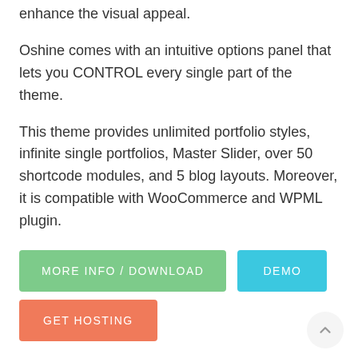enhance the visual appeal.
Oshine comes with an intuitive options panel that lets you CONTROL every single part of the theme.
This theme provides unlimited portfolio styles, infinite single portfolios, Master Slider, over 50 shortcode modules, and 5 blog layouts. Moreover, it is compatible with WooCommerce and WPML plugin.
MORE INFO / DOWNLOAD
DEMO
GET HOSTING
Axen